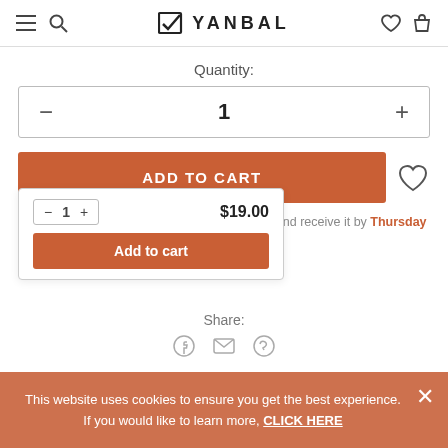Yanbal navigation header with menu, search, logo, wishlist, and cart icons
Quantity:
— 1 +
ADD TO CART
Place an order, select Express shipping and receive it by Thursday 08-Sep
1   $19.00   Add to cart
Share:
This website uses cookies to ensure you get the best experience. If you would like to learn more, CLICK HERE